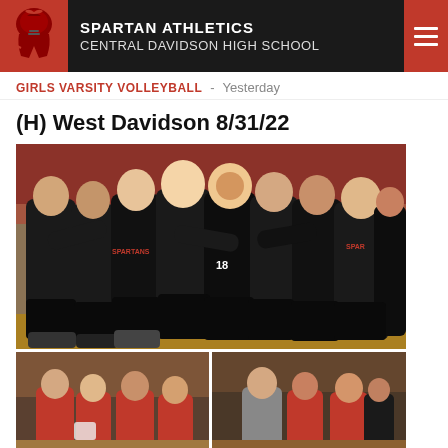SPARTAN ATHLETICS - CENTRAL DAVIDSON HIGH SCHOOL
GIRLS VARSITY VOLLEYBALL - Yesterday
(H) West Davidson 8/31/22
[Figure (photo): Team photo of volleyball players in black uniforms huddled together in a group embrace on the gymnasium court, smiling and celebrating.]
[Figure (photo): Two side-by-side photos showing people in red and grey shirts gathered together, appearing to be coaches and players on the sideline.]
[Figure (photo): Partial strip photo showing people in red shirts at the bottom of the page.]